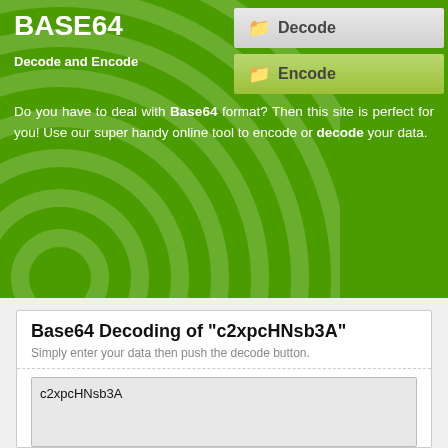BASE64
Decode and Encode
[Figure (screenshot): Decode navigation button with folder icon]
[Figure (screenshot): Encode navigation button with folder icon]
Do you have to deal with Base64 format? Then this site is perfect for you! Use our super handy online tool to encode or decode your data.
Base64 Decoding of "c2xpcHNsb3A"
Simply enter your data then push the decode button.
c2xpcHNsb3A